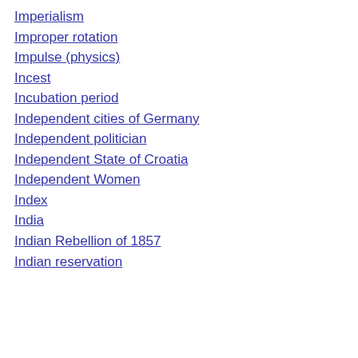Imperialism
Improper rotation
Impulse (physics)
Incest
Incubation period
Independent cities of Germany
Independent politician
Independent State of Croatia
Independent Women
Index
India
Indian Rebellion of 1857
Indian reservation